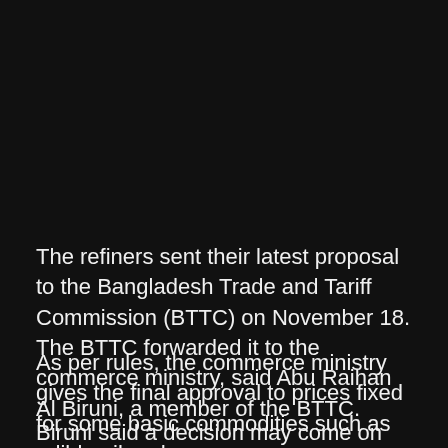The refiners sent their latest proposal to the Bangladesh Trade and Tariff Commission (BTTC) on November 18. The BTTC forwarded it to the commerce ministry, said Abu Raihan Al Biruni, a member of the BTTC.
As per rules, the commerce ministry gives the final approval to prices fixed for some basic commodities such as edible oil and sugar.
Biruni said a decision may come on the next meeting on the issue, either on December 1 or December 2.